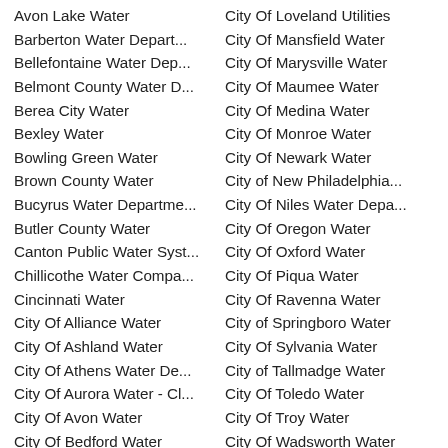Avon Lake Water
Barberton Water Depart...
Bellefontaine Water Dep...
Belmont County Water D...
Berea City Water
Bexley Water
Bowling Green Water
Brown County Water
Bucyrus Water Departme...
Butler County Water
Canton Public Water Syst...
Chillicothe Water Compa...
Cincinnati Water
City Of Alliance Water
City Of Ashland Water
City Of Athens Water De...
City Of Aurora Water - Cl...
City Of Avon Water
City Of Bedford Water
City Of Loveland Utilities
City Of Mansfield Water
City Of Marysville Water
City Of Maumee Water
City Of Medina Water
City Of Monroe Water
City Of Newark Water
City of New Philadelphia...
City Of Niles Water Depa...
City Of Oregon Water
City Of Oxford Water
City Of Piqua Water
City Of Ravenna Water
City of Springboro Water
City Of Sylvania Water
City of Tallmadge Water
City Of Toledo Water
City Of Troy Water
City Of Wadsworth Water